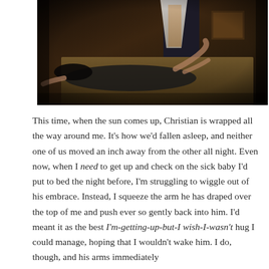[Figure (photo): Dark, moody photograph of a woman lying on a bed in black clothing with a man standing above her, dimly lit room with warm tones.]
This time, when the sun comes up, Christian is wrapped all the way around me. It's how we'd fallen asleep, and neither one of us moved an inch away from the other all night. Even now, when I need to get up and check on the sick baby I'd put to bed the night before, I'm struggling to wiggle out of his embrace. Instead, I squeeze the arm he has draped over the top of me and push ever so gently back into him. I'd meant it as the best I'm-getting-up-but-I wish-I-wasn't hug I could manage, hoping that I wouldn't wake him. I do, though, and his arms immediately